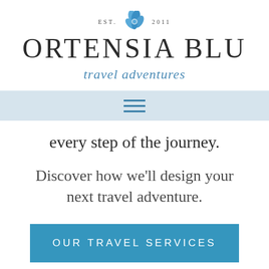[Figure (logo): Ortensia Blu travel adventures logo with blue flower/hydrangea icon, EST. 2011 text, large brand name ORTENSIA BLU and italic tagline travel adventures]
every step of the journey.
Discover how we'll design your next travel adventure.
OUR TRAVEL SERVICES